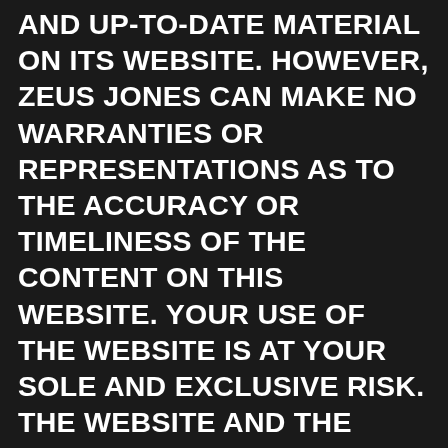AND UP-TO-DATE MATERIAL ON ITS WEBSITE. HOWEVER, ZEUS JONES CAN MAKE NO WARRANTIES OR REPRESENTATIONS AS TO THE ACCURACY OR TIMELINESS OF THE CONTENT ON THIS WEBSITE. YOUR USE OF THE WEBSITE IS AT YOUR SOLE AND EXCLUSIVE RISK. THE WEBSITE AND THE CONTENT CONTAINED ON THE WEBSITE ARE PROVIDED ON AN “AS IS” AND “AS AVAILABLE” BASIS. ZEUS JONES EXPRESSLY DISCLAIMS ALL WARRANTIES OF ANY KIND, WHETHER EXPRESS OR IMPLIED, INCLUDING, BUT NOT LIMITED TO THE IMPLIED WARRANTIES OF MERCHANTABILITY, FITNESS FOR A PARTICULAR PURPOSE AND NONINFRINGEMENT. ZEUS JONES MAKES NO WARRANTY THAT (i) THE WEBSITE WILL MEET YOUR REQUIREMENTS, (ii)